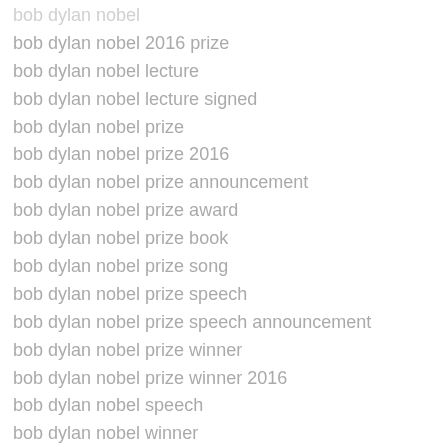bob dylan nobel
bob dylan nobel 2016 prize
bob dylan nobel lecture
bob dylan nobel lecture signed
bob dylan nobel prize
bob dylan nobel prize 2016
bob dylan nobel prize announcement
bob dylan nobel prize award
bob dylan nobel prize book
bob dylan nobel prize song
bob dylan nobel prize speech
bob dylan nobel prize speech announcement
bob dylan nobel prize winner
bob dylan nobel prize winner 2016
bob dylan nobel speech
bob dylan nobel winner
bob dylan overrated
bob dylan poetry